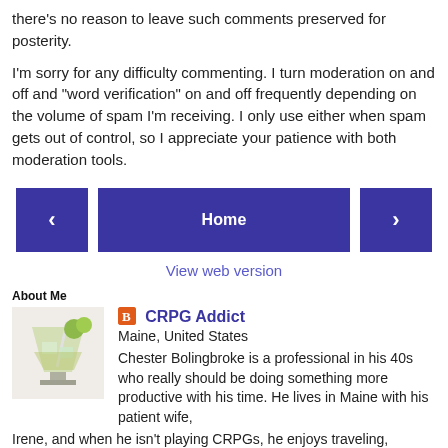there's no reason to leave such comments preserved for posterity.
I'm sorry for any difficulty commenting. I turn moderation on and off and "word verification" on and off frequently depending on the volume of spam I'm receiving. I only use either when spam gets out of control, so I appreciate your patience with both moderation tools.
[Figure (other): Navigation buttons: left arrow button, Home button, right arrow button]
View web version
About Me
[Figure (photo): Profile photo showing a cocktail drink with lime garnish]
CRPG Addict
Maine, United States
Chester Bolingbroke is a professional in his 40s who really should be doing something more productive with his time. He lives in Maine with his patient wife, Irene, and when he isn't playing CRPGs, he enjoys traveling,